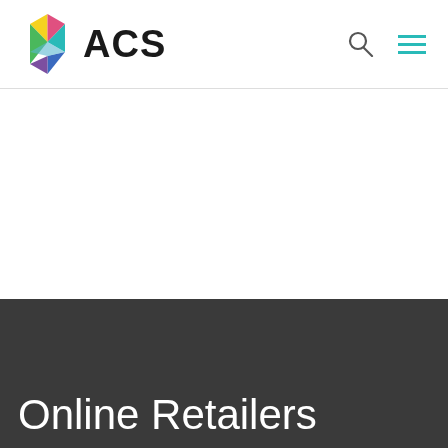[Figure (logo): ACS logo with colorful hexagon icon and bold 'ACS' text, plus search and menu icons in the header]
Online Retailers